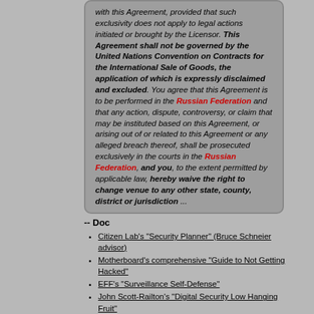with this Agreement, provided that such exclusivity does not apply to legal actions initiated or brought by the Licensor. This Agreement shall not be governed by the United Nations Convention on Contracts for the International Sale of Goods, the application of which is expressly disclaimed and excluded. You agree that this Agreement is to be performed in the Russian Federation and that any action, dispute, controversy, or claim that may be instituted based on this Agreement, or arising out of or related to this Agreement or any alleged breach thereof, shall be prosecuted exclusively in the courts in the Russian Federation, and you, to the extent permitted by applicable law, hereby waive the right to change venue to any other state, county, district or jurisdiction ...
-- Doc
Citizen Lab's "Security Planner" (Bruce Schneier advisor)
Motherboard's comprehensive "Guide to Not Getting Hacked"
EFF's "Surveillance Self-Defense"
John Scott-Railton's "Digital Security Low Hanging Fruit"